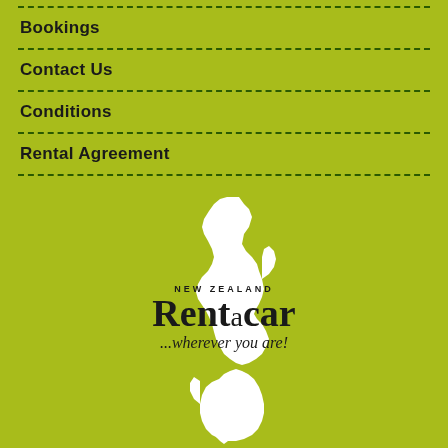Bookings
Contact Us
Conditions
Rental Agreement
[Figure (logo): New Zealand Rent a Car logo with white silhouette map of New Zealand on lime green background. Logo text reads 'NEW ZEALAND Rent a car ...wherever you are!']